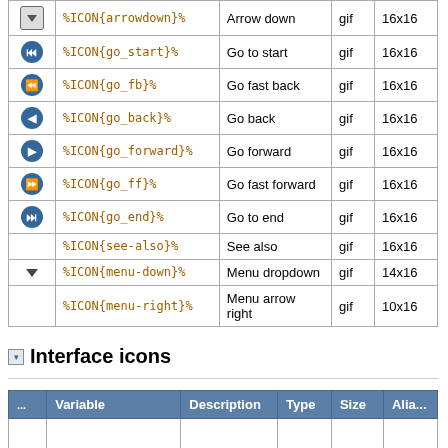| Icon | Variable | Description | Type | Size |
| --- | --- | --- | --- | --- |
| [arrowdown icon] | %ICON{arrowdown}% | Arrow down | gif | 16x16 |
| [go_start icon] | %ICON{go_start}% | Go to start | gif | 16x16 |
| [go_fb icon] | %ICON{go_fb}% | Go fast back | gif | 16x16 |
| [go_back icon] | %ICON{go_back}% | Go back | gif | 16x16 |
| [go_forward icon] | %ICON{go_forward}% | Go forward | gif | 16x16 |
| [go_ff icon] | %ICON{go_ff}% | Go fast forward | gif | 16x16 |
| [go_end icon] | %ICON{go_end}% | Go to end | gif | 16x16 |
|  | %ICON{see-also}% | See also | gif | 16x16 |
| [menu-down icon] | %ICON{menu-down}% | Menu dropdown | gif | 14x16 |
|  | %ICON{menu-right}% | Menu arrow right | gif | 10x16 |
Interface icons
| ... | Variable | Description | Type | Size | Alia... |
| --- | --- | --- | --- | --- | --- |